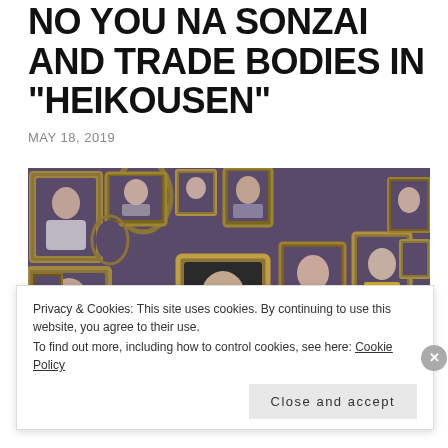NO YOU NA SONZAI AND TRADE BODIES IN “HEIKOUSEN”
MAY 18, 2019
[Figure (photo): Group promotional photo showing multiple young women in individual ornate gilded frames arranged on a dark purple wall, resembling a portrait gallery.]
Privacy & Cookies: This site uses cookies. By continuing to use this website, you agree to their use.
To find out more, including how to control cookies, see here: Cookie Policy
Close and accept